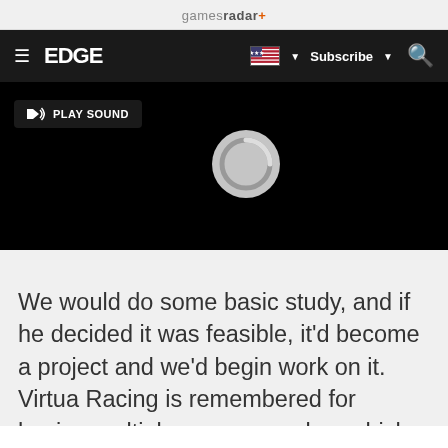gamesradar+
EDGE  Subscribe
[Figure (screenshot): Black video player area with a 'PLAY SOUND' button in the top-left and a loading spinner circle in the center-right]
We would do some basic study, and if he decided it was feasible, it'd become a project and we'd begin work on it. Virtua Racing is remembered for having multiple camera angles, which was something new at